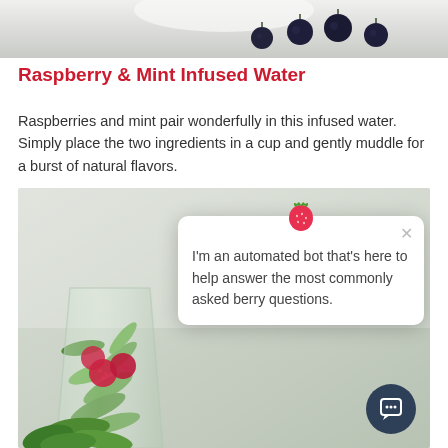[Figure (photo): Top portion of photo showing blueberries on a light background, partially cropped at the top of the page]
Raspberry & Mint Infused Water
Raspberries and mint pair wonderfully in this infused water. Simply place the two ingredients in a cup and gently muddle for a burst of natural flavors.
[Figure (photo): Photo of a glass filled with raspberries, mint leaves, and infused water on a light background. Overlaid with a chatbot popup containing a strawberry icon and the text: I'm an automated bot that's here to help answer the most commonly asked berry questions. A dark circular chat button is visible at the bottom right.]